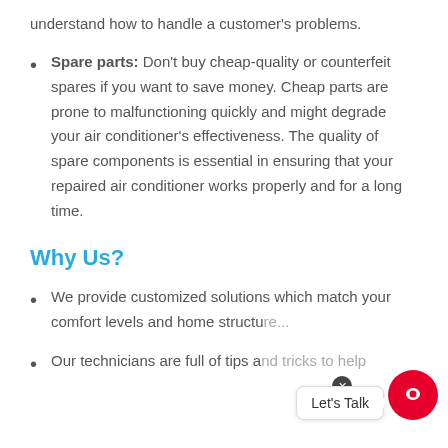understand how to handle a customer's problems.
Spare parts: Don't buy cheap-quality or counterfeit spares if you want to save money. Cheap parts are prone to malfunctioning quickly and might degrade your air conditioner's effectiveness. The quality of spare components is essential in ensuring that your repaired air conditioner works properly and for a long time.
Why Us?
We provide customized solutions which match your comfort levels and home structu...
Our technicians are full of tips and tricks to help...